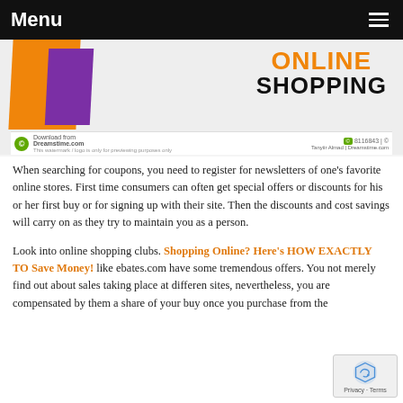Menu
[Figure (illustration): Online shopping banner image showing orange and purple shopping bags on the left, and bold text 'ONLINE SHOPPING' on the right. Dreamstime.com watermark visible at bottom.]
When searching for coupons, you need to register for newsletters of one's favorite online stores. First time consumers can often get special offers or discounts for his or her first buy or for signing up with their site. Then the discounts and cost savings will carry on as they try to maintain you as a person.
Look into online shopping clubs. Shopping Online? Here's HOW EXACTLY TO Save Money! like ebates.com have some tremendous offers. You not merely find out about sales taking place at different sites, nevertheless, you are compensated by them a share of your buy once you purchase from the